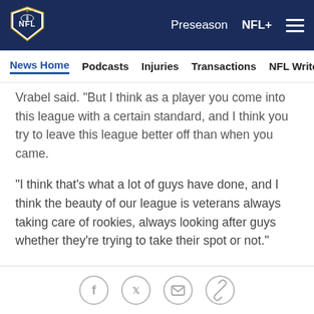[Figure (logo): NFL shield logo in top-left of navy header bar]
Preseason   NFL+   ≡
News Home   Podcasts   Injuries   Transactions   NFL Writers   Se
Vrabel said. "But I think as a player you come into this league with a certain standard, and I think you try to leave this league better off than when you came.
"I think that's what a lot of guys have done, and I think the beauty of our league is veterans always taking care of rookies, always looking after guys whether they're trying to take their spot or not."
The June 3 hearing isn't the only potential leverage point to be determined between now and the resumption of mediation.
[Figure (infographic): Social share icons: Facebook, Twitter, Email, Link copy — four circular outline buttons]